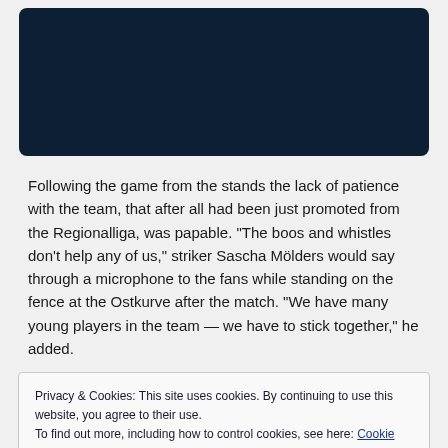[Figure (photo): Dark navy blue rectangular image block, rounded corners, likely a video or photo placeholder]
Following the game from the stands the lack of patience with the team, that after all had been just promoted from the Regionalliga, was papable. "The boos and whistles don't help any of us," striker Sascha Mölders would say through a microphone to the fans while standing on the fence at the Ostkurve after the match. "We have many young players in the team — we have to stick together," he added.
Privacy & Cookies: This site uses cookies. By continuing to use this website, you agree to their use.
To find out more, including how to control cookies, see here: Cookie Policy
this never give up attitude," Daniel Bierofka would later say.